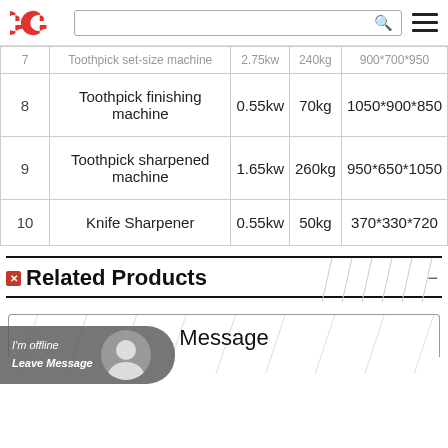GG logo, search box, hamburger menu
| # | Product | Power | Weight | Size |
| --- | --- | --- | --- | --- |
| 7 | Toothpick set-size machine | 2.75kw | 240kg | 900*700*950 |
| 8 | Toothpick finishing machine | 0.55kw | 70kg | 1050*900*850 |
| 9 | Toothpick sharpened machine | 1.65kw | 260kg | 950*650*1050 |
| 10 | Knife Sharpener | 0.55kw | 50kg | 370*330*720 |
Related Products
Message